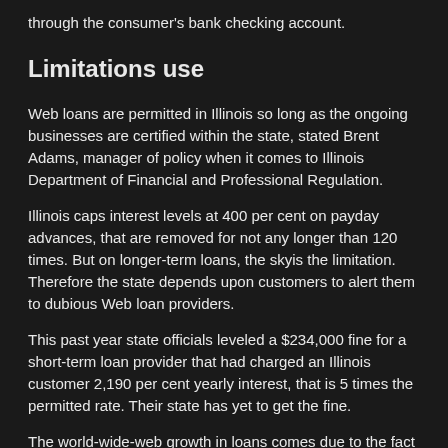through the consumer's bank checking account.
Limitations use
Web loans are permitted in Illinois so long as the ongoing businesses are certified within the state, stated Brent Adams, manager of policy when it comes to Illinois Department of Financial and Professional Regulation.
Illinois caps interest levels at 400 per cent on payday advances, that are removed for not any longer than 120 times. But on longer-term loans, the skyis the limitation. Therefore the state depends upon customers to alert them to dubious Web loan providers.
This past year state officials leveled a $234,000 fine for a short-term loan provider that had charged an Illinois customer 2,190 per cent yearly interest, that is 5 times the permitted rate. Their state has yet to get the fine.
The world-wide-web growth in loans comes due to the fact industry seems circled by unfriendly state and lawmakers that are federal.